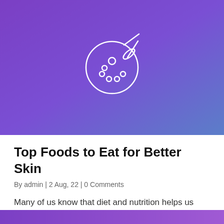[Figure (illustration): Purple to blue gradient background with a white outline paint palette and brush icon centered in the image]
Top Foods to Eat for Better Skin
By admin | 2 Aug, 22 | 0 Comments
Many of us know that diet and nutrition helps us
[Figure (illustration): Partial view of another card with purple gradient background at the bottom of the page]